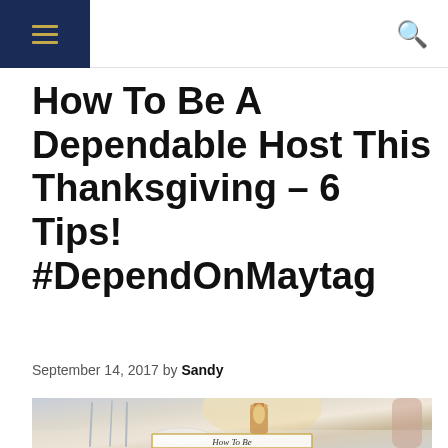Navigation header with hamburger menu and search icon
How To Be A Dependable Host This Thanksgiving – 6 Tips! #DependOnMaytag
September 14, 2017 by Sandy
[Figure (photo): A styled Thanksgiving table setting with silverware, glassware, candles, and a decorative golden lantern centerpiece. A gold-bordered card with script text is visible at the bottom.]